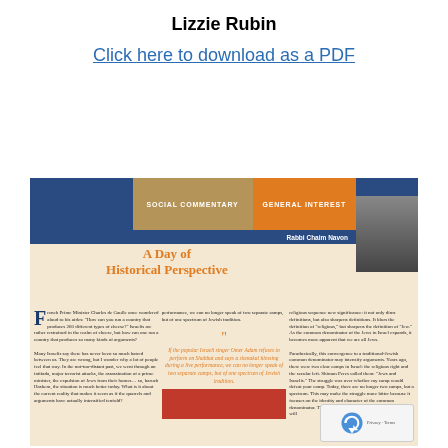Lizzie Rubin
Click here to download as a PDF
[Figure (screenshot): Article preview thumbnail showing a magazine-style article titled 'A Day of Historical Perspective' by Rabbi Chaim Navon, with category banners 'Social Commentary' and 'General Interest', a drop-cap opening paragraph, pullquote, and multi-column article text.]